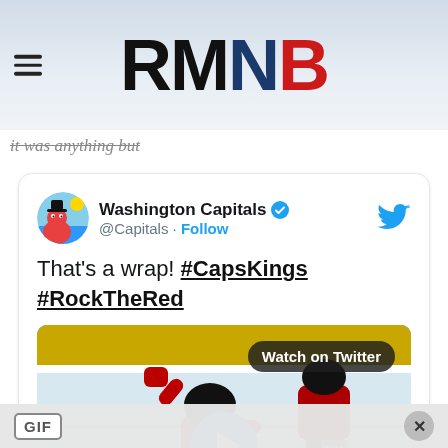RMNB
it was anything but
[Figure (screenshot): Embedded tweet from @Capitals (Washington Capitals verified account) with text 'That's a wrap! #CapsKings #RockTheRed' and a video thumbnail of hockey players in red uniforms with a 'Watch on Twitter' badge and play button]
GIF